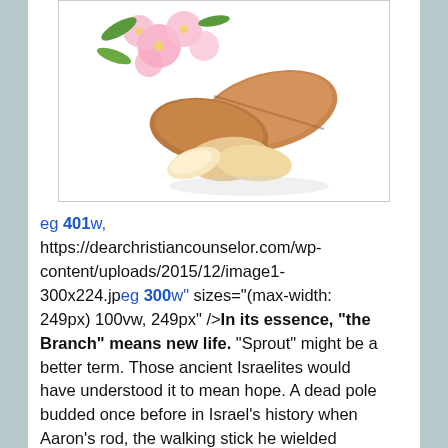[Figure (photo): Photo of almonds (whole and split) with pink almond blossoms on a white background, inside a light gray bordered rectangle.]
eg 401w, https://dearchristiancounselor.com/wp-content/uploads/2015/12/image1-300x224.jpeg 300w" sizes="(max-width: 249px) 100vw, 249px" />In its essence, “the Branch” means new life. “Sprout” might be a better term. Those ancient Israelites would have understood it to mean hope. A dead pole budded once before in Israel’s history when Aaron’s rod, the walking stick he wielded before Pharaoh, grew leaves and flowers and